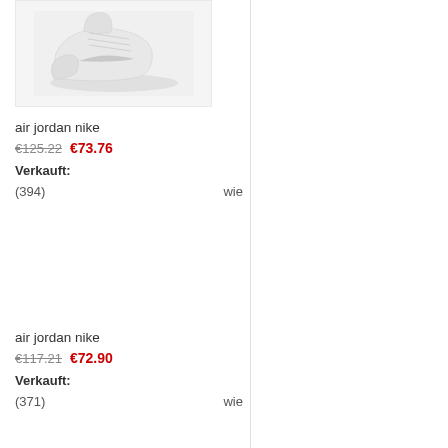[Figure (photo): White Air Jordan Nike sneaker shoe product photo on light grey background]
air jordan nike
€125.22  €73.76
Verkauft:
(394)    wie
air jordan nike
€117.21  €72.90
Verkauft:
(371)    wie